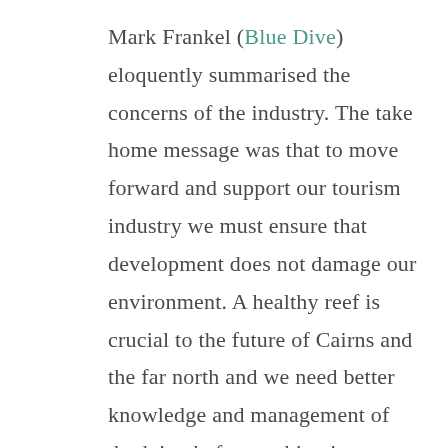Mark Frankel (Blue Dive) eloquently summarised the concerns of the industry. The take home message was that to move forward and support our tourism industry we must ensure that development does not damage our environment. A healthy reef is crucial to the future of Cairns and the far north and we need better knowledge and management of dredging before rushing into a taxpayer funded dredging program that is likely to do more harm than good.